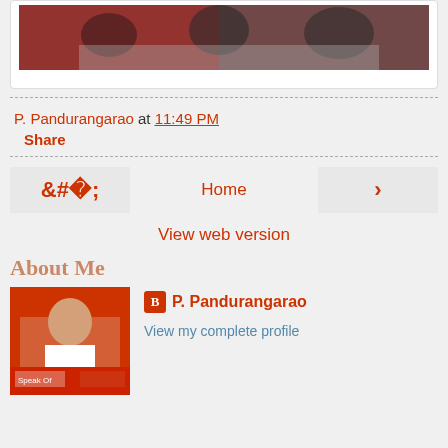[Figure (photo): Group photo of people seated, partial view at top of page]
P. Pandurangarao at 11:49 PM
Share
Home
View web version
About Me
[Figure (photo): Profile photo of P. Pandurangarao speaking at a podium]
P. Pandurangarao
View my complete profile